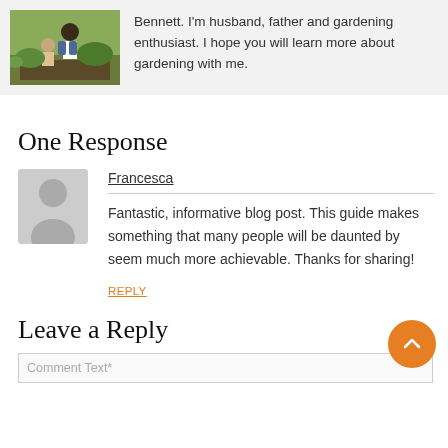[Figure (photo): Author photo showing a man kneeling in a garden with a child, surrounded by plants]
Bennett. I'm husband, father and gardening enthusiast. I hope you will learn more about gardening with me.
One Response
[Figure (photo): Gray default avatar/silhouette image for commenter Francesca]
Francesca
Fantastic, informative blog post. This guide makes something that many people will be daunted by seem much more achievable. Thanks for sharing!
REPLY
Leave a Reply
Comment Text*